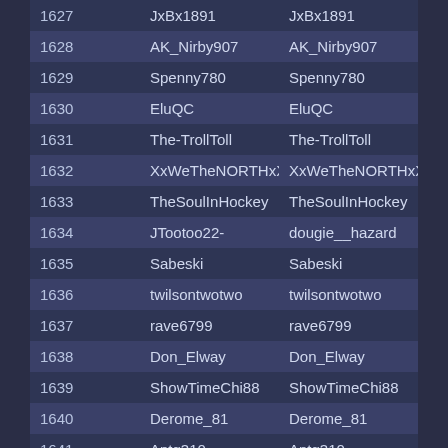| # | Username | Username |
| --- | --- | --- |
| 1627 | JxBx1891 | JxBx1891 |
| 1628 | AK_Nirby907 | AK_Nirby907 |
| 1629 | Spenny780 | Spenny780 |
| 1630 | EluQC | EluQC |
| 1631 | The-TrollToll | The-TrollToll |
| 1632 | XxWeTheNORTHxX | XxWeTheNORTHxX |
| 1633 | TheSoulInHockey | TheSoulInHockey |
| 1634 | JTootoo22- | dougie__hazard |
| 1635 | Sabeski | Sabeski |
| 1636 | twilsontwotwo | twilsontwotwo |
| 1637 | rave6799 | rave6799 |
| 1638 | Don_Elway | Don_Elway |
| 1639 | ShowTimeChi88 | ShowTimeChi88 |
| 1640 | Derome_81 | Derome_81 |
| 1641 | Antg310 | Antg310 |
| 1642 | monster_mania771 | monster_mania771 |
| 1643 | NaiveRealism | NaiveRealism |
| 1644 | Hakiboy_Qc | Hakiboy_Qc |
| 1645 | DrOz2385 | DrOz2385 |